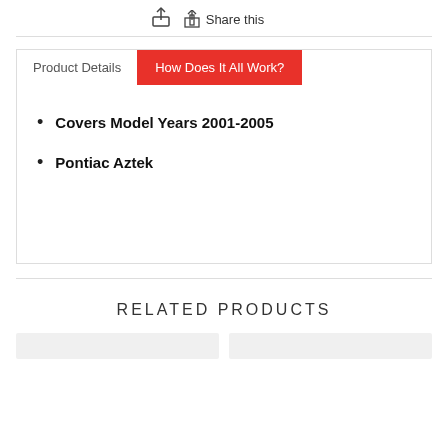Share this
Product Details
How Does It All Work?
Covers Model Years 2001-2005
Pontiac Aztek
RELATED PRODUCTS